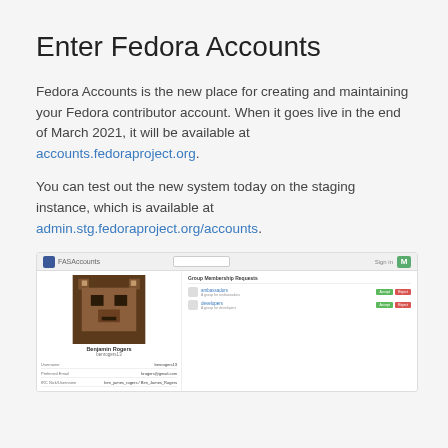Enter Fedora Accounts
Fedora Accounts is the new place for creating and maintaining your Fedora contributor account. When it goes live in the end of March 2021, it will be available at accounts.fedoraproject.org.
You can test out the new system today on the staging instance, which is available at admin.stg.fedoraproject.org/accounts.
[Figure (screenshot): Screenshot of the Fedora Accounts web interface showing a user profile page with a pixelated brown avatar, username 'Benjamin Rogers', group memberships with Accept/Reject buttons, and profile fields]